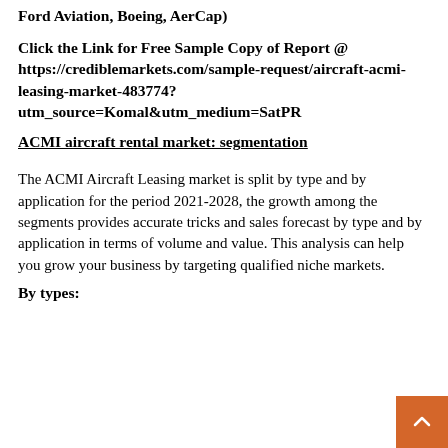Ford Aviation, Boeing, AerCap)
Click the Link for Free Sample Copy of Report @ https://crediblemarkets.com/sample-request/aircraft-acmi-leasing-market-483774?utm_source=Komal&utm_medium=SatPR
ACMI aircraft rental market: segmentation
The ACMI Aircraft Leasing market is split by type and by application for the period 2021-2028, the growth among the segments provides accurate tricks and sales forecast by type and by application in terms of volume and value. This analysis can help you grow your business by targeting qualified niche markets.
By types: